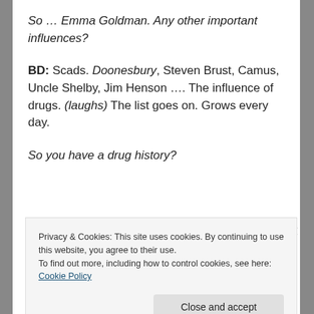So … Emma Goldman. Any other important influences?
BD: Scads. Doonesbury, Steven Brust, Camus, Uncle Shelby, Jim Henson …. The influence of drugs. (laughs) The list goes on. Grows every day.
So you have a drug history?
Privacy & Cookies: This site uses cookies. By continuing to use this website, you agree to their use.
To find out more, including how to control cookies, see here: Cookie Policy
Close and accept